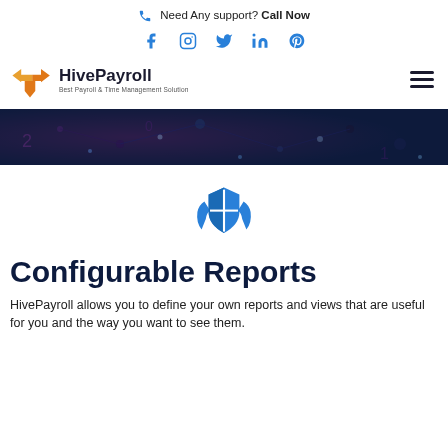Need Any support? Call Now
[Figure (infographic): Social media icons: Facebook, Instagram, Twitter, LinkedIn, Pinterest in blue]
[Figure (logo): HivePayroll logo with orange gear icon and text 'HivePayroll - Best Payroll & Time Management Solution']
[Figure (photo): Dark abstract banner image with digital circuit/data patterns]
[Figure (illustration): Blue icon of two hands holding a shield with a cross/checkered pattern]
Configurable Reports
HivePayroll allows you to define your own reports and views that are useful for you and the way you want to see them.